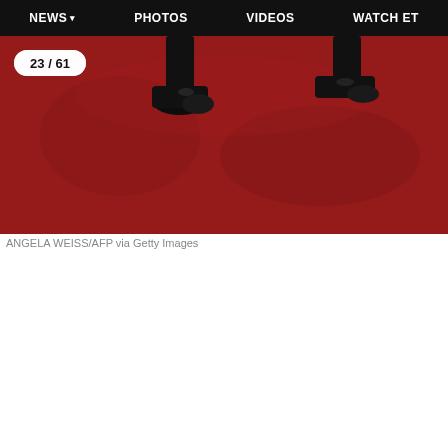NEWS  PHOTOS  VIDEOS  WATCH ET
[Figure (photo): Close-up of black dress shoes on a red carpet, photo number 23 of 61 in a gallery]
ANGELA WEISS/AFP via Getty Images